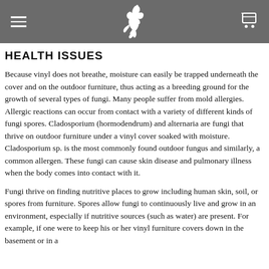HEALTH ISSUES
HEALTH ISSUES
Because vinyl does not breathe, moisture can easily be trapped underneath the cover and on the outdoor furniture, thus acting as a breeding ground for the growth of several types of fungi. Many people suffer from mold allergies. Allergic reactions can occur from contact with a variety of different kinds of fungi spores. Cladosporium (hormodendrum) and alternaria are fungi that thrive on outdoor furniture under a vinyl cover soaked with moisture. Cladosporium sp. is the most commonly found outdoor fungus and similarly, a common allergen. These fungi can cause skin disease and pulmonary illness when the body comes into contact with it.
Fungi thrive on finding nutritive places to grow including human skin, soil, or spores from furniture. Spores allow fungi to continuously live and grow in an environment, especially if nutritive sources (such as water) are present. For example, if one were to keep his or her vinyl furniture covers down in the basement or in a